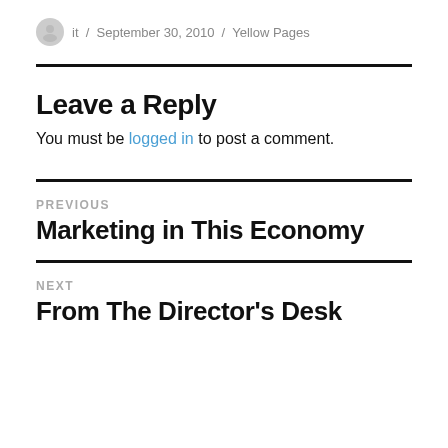it / September 30, 2010 / Yellow Pages
Leave a Reply
You must be logged in to post a comment.
PREVIOUS
Marketing in This Economy
NEXT
From The Director's Desk